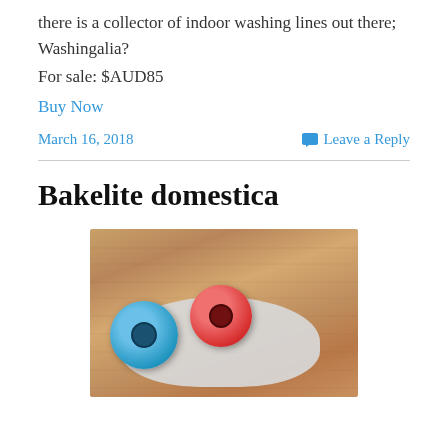there is a collector of indoor washing lines out there; Washingalia?
For sale: $AUD85
Buy Now
March 16, 2018   Leave a Reply
Bakelite domestica
[Figure (photo): Two retractable reel dispensers, one blue and one red, sitting on a grey cloth bag on a wooden slatted surface]